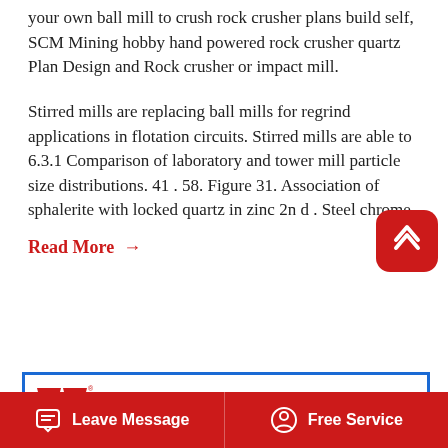your own ball mill to crush rock crusher plans build self, SCM Mining hobby hand powered rock crusher quartz Plan Design and Rock crusher or impact mill.
Stirred mills are replacing ball mills for regrind applications in flotation circuits. Stirred mills are able to 6.3.1 Comparison of laboratory and tower mill particle size distributions. 41 . 58. Figure 31. Association of sphalerite with locked quartz in zinc 2n d . Steel chrome.
Read More →
[Figure (photo): Winner brand banner: logo with double-W mark and WINNER text, italic slogan 'Energy Saving ,High Efficiency ,Environmental Friendly', with industrial machinery scene below in blue-grey tones, surrounded by blue border]
Leave Message
Free Service